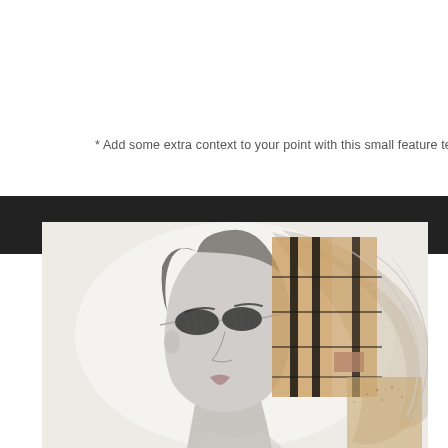* Add some extra context to your point with this small feature text.
[Figure (photo): A double-exposure artistic photo combining a black-and-white portrait of a woman wearing small oval sunglasses with a golden/brown architectural building image overlaid on her silhouette. The image has a light background.]